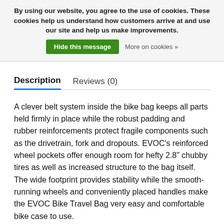By using our website, you agree to the use of cookies. These cookies help us understand how customers arrive at and use our site and help us make improvements. Hide this message  More on cookies »
Description   Reviews (0)
A clever belt system inside the bike bag keeps all parts held firmly in place while the robust padding and rubber reinforcements protect fragile components such as the drivetrain, fork and dropouts. EVOC's reinforced wheel pockets offer enough room for hefty 2.8" chubby tires as well as increased structure to the bag itself. The wide footprint provides stability while the smooth-running wheels and conveniently placed handles make the EVOC Bike Travel Bag very easy and comfortable bike case to use.